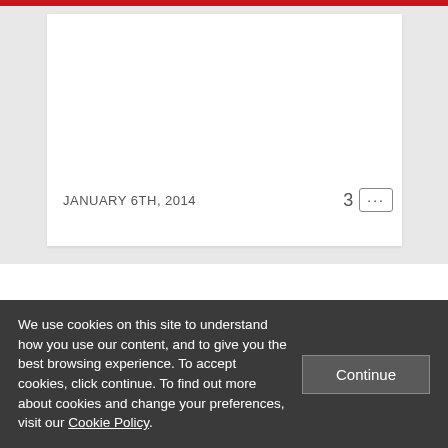JANUARY 6TH, 2014
3 ...
[Figure (logo): LSE - The London School logo with red background and white text]
THE LONDON SCHOOL
We use cookies on this site to understand how you use our content, and to give you the best browsing experience. To accept cookies, click continue. To find out more about cookies and change your preferences, visit our Cookie Policy.